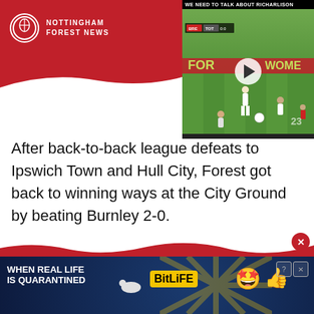NOTTINGHAM FOREST NEWS
[Figure (screenshot): Video thumbnail: 'We Need to Talk About Richarlison' - football match video with play button overlay, showing players on pitch]
After back-to-back league defeats to Ipswich Town and Hull City, Forest got back to winning ways at the City Ground by beating Burnley 2-0.
[Figure (infographic): Search advertisement box listing: 1. THE 2023 LAND ROVER SPORT SUV OFFERS, 2. CHEAP HOUSES FOR SALE BY OWNERS]
[Figure (screenshot): Bottom banner advertisement for BitLife mobile game - 'When Real Life Is Quarantined' with emoji characters]